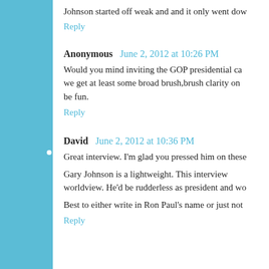Johnson started off weak and and it only went dow
Reply
Anonymous  June 2, 2012 at 10:26 PM
Would you mind inviting the GOP presidential ca... we get at least some broad brush,brush clarity on... be fun.
Reply
David  June 2, 2012 at 10:36 PM
Great interview. I'm glad you pressed him on these
Gary Johnson is a lightweight. This interview worldview. He'd be rudderless as president and wo
Best to either write in Ron Paul's name or just not
Reply